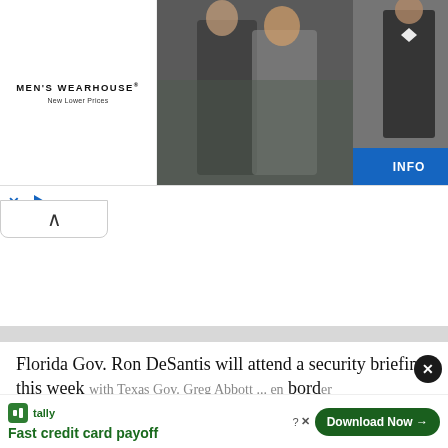[Figure (screenshot): Men's Wearhouse advertisement banner showing a couple in formal wear and a man in a suit, with INFO button]
Florida Gov. Ron DeSantis will attend a security briefing this week with Texas Gov. Greg Abbott ... en border
[Figure (screenshot): Tally app advertisement: Fast credit card payoff, with Download Now button]